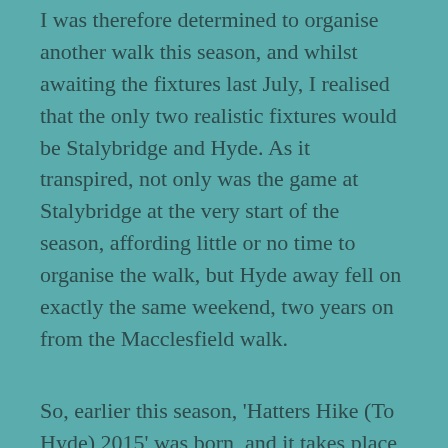I was therefore determined to organise another walk this season, and whilst awaiting the fixtures last July, I realised that the only two realistic fixtures would be Stalybridge and Hyde. As it transpired, not only was the game at Stalybridge at the very start of the season, affording little or no time to organise the walk, but Hyde away fell on exactly the same weekend, two years on from the Macclesfield walk.
So, earlier this season, 'Hatters Hike (To Hyde) 2015' was born, and it takes place this coming Saturday – 28th March 2015. The distance to